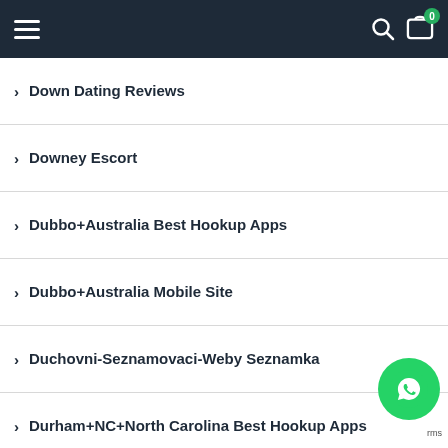Navigation header with hamburger menu, search icon, and cart with badge 0
Down Dating Reviews
Downey Escort
Dubbo+Australia Best Hookup Apps
Dubbo+Australia Mobile Site
Duchovni-Seznamovaci-Weby Seznamka
Durham+NC+North Carolina Best Hookup Apps
E-Chat Visitors
Easy Approval Installment Loans
Easy Money Payday Loans
[Figure (logo): WhatsApp floating action button (green circle with phone icon)]